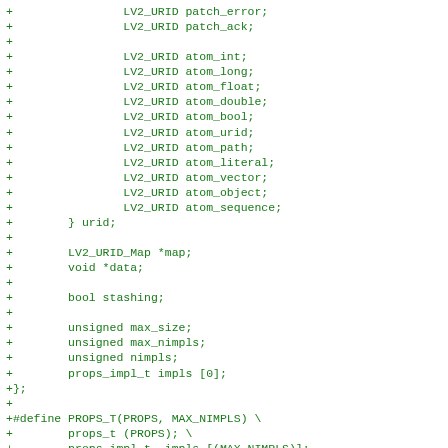+                LV2_URID patch_error;
+                LV2_URID patch_ack;
+
+                LV2_URID atom_int;
+                LV2_URID atom_long;
+                LV2_URID atom_float;
+                LV2_URID atom_double;
+                LV2_URID atom_bool;
+                LV2_URID atom_urid;
+                LV2_URID atom_path;
+                LV2_URID atom_literal;
+                LV2_URID atom_vector;
+                LV2_URID atom_object;
+                LV2_URID atom_sequence;
+        } urid;
+
+        LV2_URID_Map *map;
+        void *data;
+
+        bool stashing;
+
+        unsigned max_size;
+        unsigned max_nimpls;
+        unsigned nimpls;
+        props_impl_t impls [0];
+};
+
+#define PROPS_T(PROPS, MAX_NIMPLS) \
+        props_t (PROPS); \
+        props_impl_t _impls [(MAX_NIMPLS)];